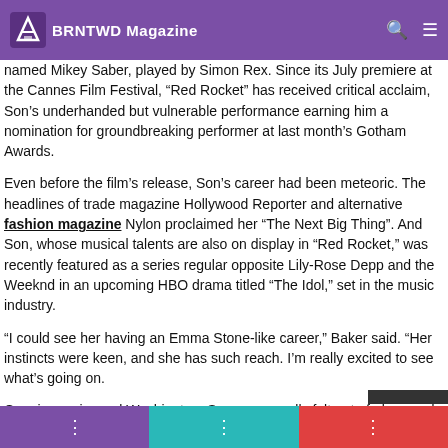BRNTWD Magazine
named Mikey Saber, played by Simon Rex. Since its July premiere at the Cannes Film Festival, “Red Rocket” has received critical acclaim, Son’s underhanded but vulnerable performance earning him a nomination for groundbreaking performer at last month’s Gotham Awards.
Even before the film’s release, Son’s career had been meteoric. The headlines of trade magazine Hollywood Reporter and alternative fashion magazine Nylon proclaimed her “The Next Big Thing”. And Son, whose musical talents are also on display in “Red Rocket,” was recently featured as a series regular opposite Lily-Rose Depp and the Weeknd in an upcoming HBO drama titled “The Idol,” set in the music industry.
“I could see her having an Emma Stone-like career,” Baker said. “Her instincts were keen, and she has such reach. I’m really excited to see what’s going on.
Growing up in rural Washington, Son never really felt out of place and was drawn to the show from a young age to counter her innate shyness. “I always felt like a dachshund raised by Dalmatians,” she said. “I think I attributed a little of that to Showbiz, you’d”